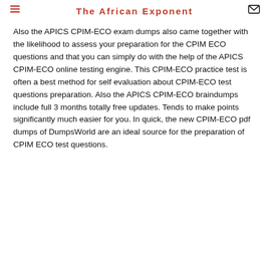The African Exponent
Also the APICS CPIM-ECO exam dumps also came together with the likelihood to assess your preparation for the CPIM ECO questions and that you can simply do with the help of the APICS CPIM-ECO online testing engine. This CPIM-ECO practice test is often a best method for self evaluation about CPIM-ECO test questions preparation. Also the APICS CPIM-ECO braindumps include full 3 months totally free updates. Tends to make points significantly much easier for you. In quick, the new CPIM-ECO pdf dumps of DumpsWorld are an ideal source for the preparation of CPIM ECO test questions.